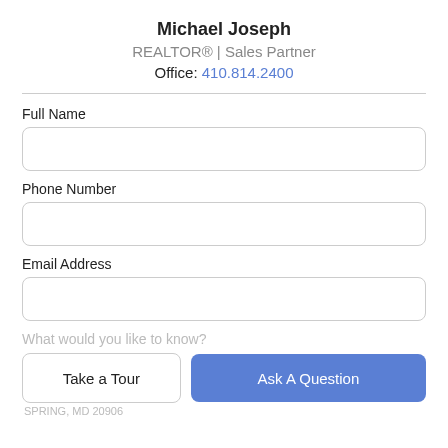Michael Joseph
REALTOR® | Sales Partner
Office: 410.814.2400
Full Name
Phone Number
Email Address
What would you like to know?
Take a Tour
Ask A Question
SPRING, MD 20906